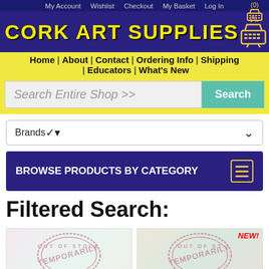My Account | Wishlist | Checkout | My Basket | Log In | (0)
CORK ART SUPPLIES
Home | About | Contact | Ordering Info | Shipping | Educators | What's New
Search Entire Shop >>
Brands
BROWSE PRODUCTS BY CATEGORY
Filtered Search:
[Figure (photo): Product image with OUT OF STOCK TEMPORARILY stamp overlay]
[Figure (photo): Product image with OUT OF STOCK TEMPORARILY stamp overlay and NEW badge]